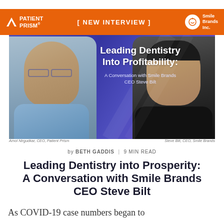PATIENT PRISM® [ NEW INTERVIEW ] Smile Brands Inc.
[Figure (photo): Banner image with two men's headshots on a purple/blue gradient background. Left: Amol Nirgudkar, CEO, Patient Prism. Right: Steve Bilt, CEO, Smile Brands. Center text: 'Leading Dentistry Into Profitability: A Conversation with Smile Brands CEO Steve Bilt']
Amol Nirgudkar, CEO, Patient Prism    Steve Bilt, CEO, Smile Brands
by BETH GADDIS | 9 MIN READ
Leading Dentistry into Prosperity: A Conversation with Smile Brands CEO Steve Bilt
As COVID-19 case numbers began to